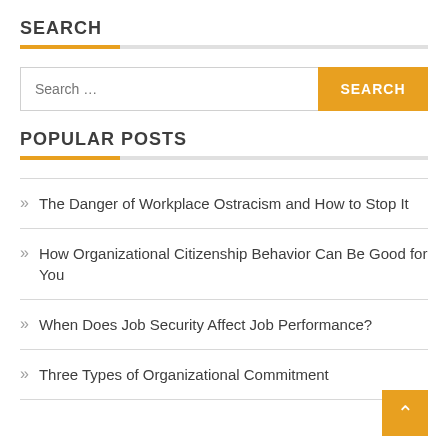SEARCH
The Danger of Workplace Ostracism and How to Stop It
POPULAR POSTS
The Danger of Workplace Ostracism and How to Stop It
How Organizational Citizenship Behavior Can Be Good for You
When Does Job Security Affect Job Performance?
Three Types of Organizational Commitment